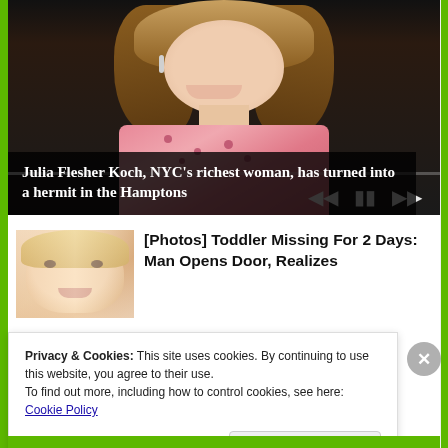[Figure (photo): Photo of Julia Flesher Koch, a woman in a pink floral strapless dress with long wavy brunette hair, smiling, against a dark background. Media player controls visible at bottom right.]
Julia Flesher Koch, NYC’s richest woman, has turned into a hermit in the Hamptons
[Figure (photo): Thumbnail photo of a young toddler with blonde hair and a serious expression.]
[Photos] Toddler Missing For 2 Days: Man Opens Door, Realizes
Privacy & Cookies: This site uses cookies. By continuing to use this website, you agree to their use.
To find out more, including how to control cookies, see here: Cookie Policy
Close and accept